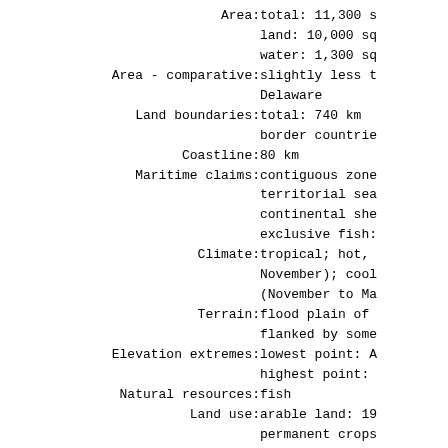Area: total: 11,300 s
land: 10,000 sq
water: 1,300 sq
Area - comparative: slightly less t
Delaware
Land boundaries: total: 740 km
border countrie
Coastline: 80 km
Maritime claims: contiguous zone
territorial sea
continental she
exclusive fish:
Climate: tropical; hot,
November); cool
(November to Ma
Terrain: flood plain of
flanked by some
Elevation extremes: lowest point: A
highest point:
Natural resources: fish
Land use: arable land: 19
permanent crops
other: 80% (199
Irrigated land: 20 sq km (1998
Natural hazards: drought (rainfa
in the last 30
Environment - current issues: deforestation;
water-borne dis
Environment - international agreements: party to: Biod:
Change, Climate